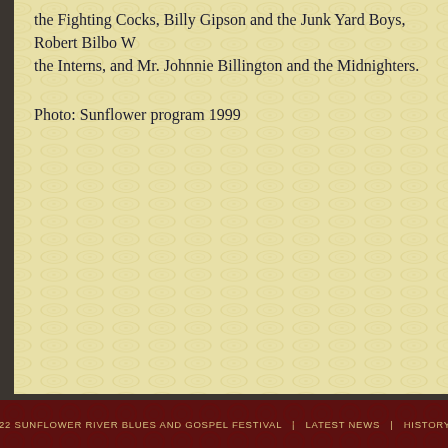the Fighting Cocks, Billy Gipson and the Junk Yard Boys, Robert Bilbo W... the Interns, and Mr. Johnnie Billington and the Midnighters.
Photo: Sunflower program 1999
©2022 SUNFLOWER RIVER BLUES AND GOSPEL FESTIVAL   |   LATEST NEWS   |   HISTORY OF